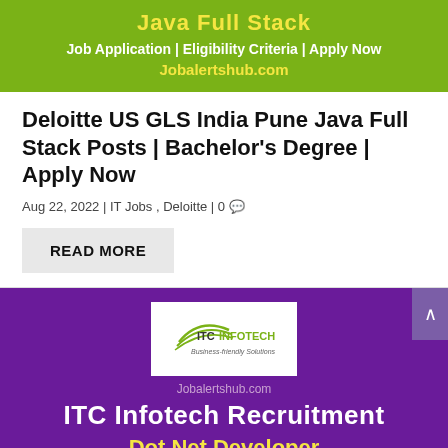[Figure (infographic): Green banner with text 'Java Full Stack', 'Job Application | Eligibility Criteria | Apply Now', and 'Jobalertshub.com']
Deloitte US GLS India Pune Java Full Stack Posts | Bachelor's Degree | Apply Now
Aug 22, 2022 | IT Jobs , Deloitte | 0
READ MORE
[Figure (infographic): Purple banner with ITC Infotech logo, watermark 'Jobalertshub.com', title 'ITC Infotech Recruitment', subtitle 'Dot Net Developer']